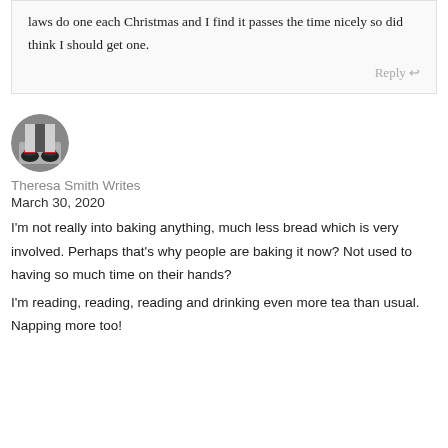laws do one each Christmas and I find it passes the time nicely so did think I should get one.
Reply
[Figure (photo): Circular avatar photo showing a person's feet wearing red shoes, black and white image with red accent]
Theresa Smith Writes
March 30, 2020
I'm not really into baking anything, much less bread which is very involved. Perhaps that's why people are baking it now? Not used to having so much time on their hands?
I'm reading, reading, reading and drinking even more tea than usual. Napping more too!